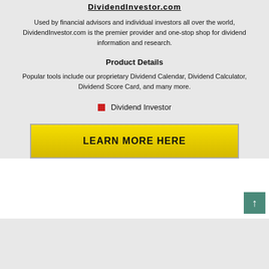DividendInvestor.com
Used by financial advisors and individual investors all over the world, DividendInvestor.com is the premier provider and one-stop shop for dividend information and research.
Product Details
Popular tools include our proprietary Dividend Calendar, Dividend Calculator, Dividend Score Card, and many more.
Dividend Investor
LEARN MORE HERE